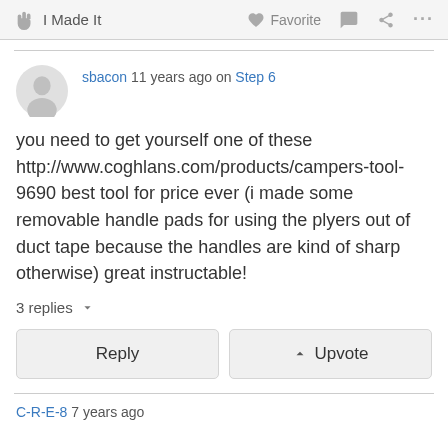I Made It   Favorite   ...
sbacon 11 years ago on Step 6
you need to get yourself one of these http://www.coghlans.com/products/campers-tool-9690 best tool for price ever (i made some removable handle pads for using the plyers out of duct tape because the handles are kind of sharp otherwise) great instructable!
3 replies
Reply   Upvote
C-R-E-8 7 years ago